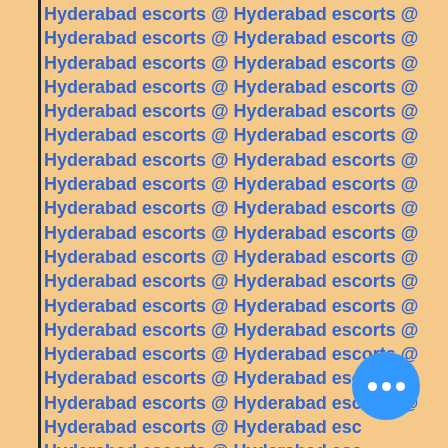Hyderabad escorts @ Hyderabad escorts @ (repeated pattern)
[Figure (other): Blue circular chat button with three white dots (ellipsis) in bottom right corner]